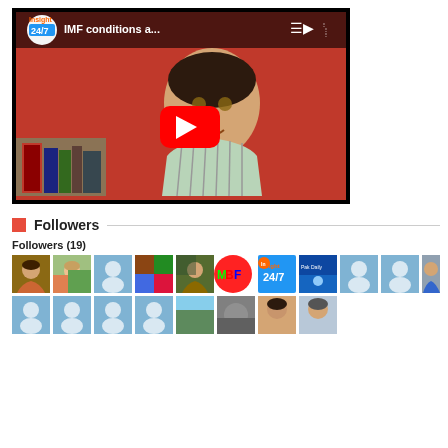[Figure (screenshot): YouTube video thumbnail showing a man in a striped shirt against a red background, with channel logo 'Insight 24/7', title 'IMF conditions a...', and a red play button overlay. Bookshelves visible at bottom left.]
Followers
Followers (19)
[Figure (photo): Grid of 19 follower avatar thumbnails including profile photos, placeholder icons, and channel logos such as Insight 24/7 and MBF.]